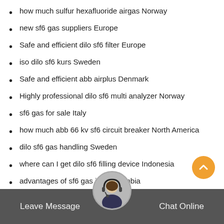how much sulfur hexafluoride airgas Norway
new sf6 gas suppliers Europe
Safe and efficient dilo sf6 filter Europe
iso dilo sf6 kurs Sweden
Safe and efficient abb airplus Denmark
Highly professional dilo sf6 multi analyzer Norway
sf6 gas for sale Italy
how much abb 66 kv sf6 circuit breaker North America
dilo sf6 gas handling Sweden
where can I get dilo sf6 filling device Indonesia
advantages of sf6 gas is a Colombia
where can I get dilo sf6 italia United Kingdom
Leave Message   Chat Online